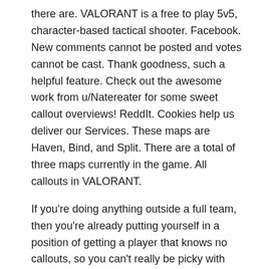there are. VALORANT is a free to play 5v5, character-based tactical shooter. Facebook. New comments cannot be posted and votes cannot be cast. Thank goodness, such a helpful feature. Check out the awesome work from u/Natereater for some sweet callout overviews! ReddIt. Cookies help us deliver our Services. These maps are Haven, Bind, and Split. There are a total of three maps currently in the game. All callouts in VALORANT.
If you're doing anything outside a full team, then you're already putting yourself in a position of getting a player that knows no callouts, so you can't really be picky with weird callouts, especially if they're standardized callouts from another game. B and A main are two of the most important callouts on the map since the attackers prioritize these areas. You can choose which categories you want to be notified for. Archived. New comments cannot ... As someone who didn't play much csgo and learned the valorant callouts via the map, I get very confused when someone facing to a callout in the day to a due to game. A small